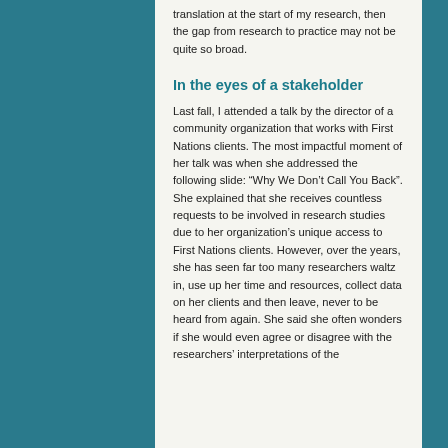translation at the start of my research, then the gap from research to practice may not be quite so broad.
In the eyes of a stakeholder
Last fall, I attended a talk by the director of a community organization that works with First Nations clients. The most impactful moment of her talk was when she addressed the following slide: “Why We Don’t Call You Back”. She explained that she receives countless requests to be involved in research studies due to her organization’s unique access to First Nations clients. However, over the years, she has seen far too many researchers waltz in, use up her time and resources, collect data on her clients and then leave, never to be heard from again. She said she often wonders if she would even agree or disagree with the researchers’ interpretations of the